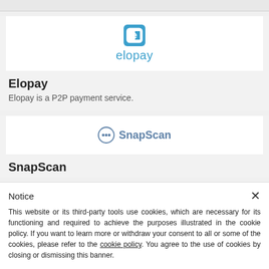[Figure (logo): Elopay logo — blue square icon with white 'e' letter shape and blue 'elopay' wordmark below]
Elopay
Elopay is a P2P payment service.
[Figure (logo): SnapScan logo — circular icon with dots and 'SnapScan' text in blue]
SnapScan
Notice
This website or its third-party tools use cookies, which are necessary for its functioning and required to achieve the purposes illustrated in the cookie policy. If you want to learn more or withdraw your consent to all or some of the cookies, please refer to the cookie policy. You agree to the use of cookies by closing or dismissing this banner.